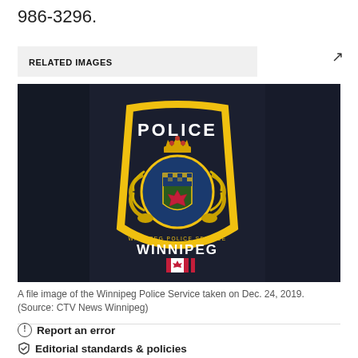986-3296.
RELATED IMAGES
[Figure (photo): A close-up photograph of a Winnipeg Police Service uniform patch/badge on a dark navy jacket. The patch is shield-shaped with a yellow border, showing the word POLICE at the top, a crest in the center, text reading WINNIPEG POLICE SERVICE around the crest, WINNIPEG at the bottom, and a small Canadian flag below that.]
A file image of the Winnipeg Police Service taken on Dec. 24, 2019. (Source: CTV News Winnipeg)
Report an error
Editorial standards & policies